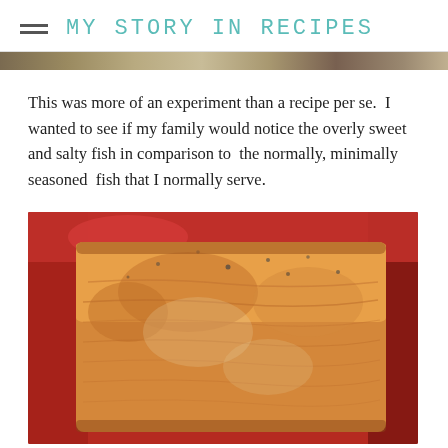MY STORY IN RECIPES
[Figure (photo): A narrow banner strip showing a food photo, partially cropped at the top of the content area.]
This was more of an experiment than a recipe per se.  I wanted to see if my family would notice the overly sweet and salty fish in comparison to  the normally, minimally seasoned  fish that I normally serve.
[Figure (photo): A close-up photograph of a cooked salmon fillet with a golden-brown glazed top, sitting in a red baking dish.]